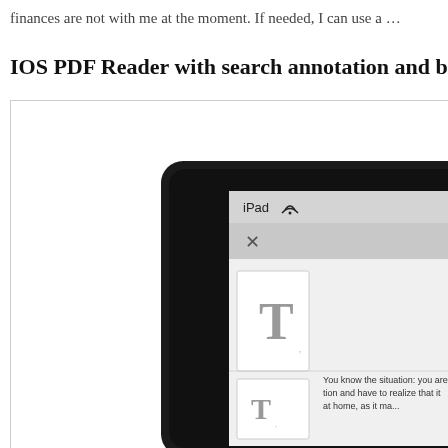finances are not with me at the moment. If needed, I can use a …
IOS PDF Reader with search annotation and bookmark
[Figure (screenshot): Screenshot of an iPad showing a PDF reader app with a document open. The iPad screen displays 'iPad' and a WiFi icon in the status bar, an X button, and a PDF page with a large 'T' character visible and text reading 'You know the situation: you are... tion and have to realize that it... at home, as it ma...']